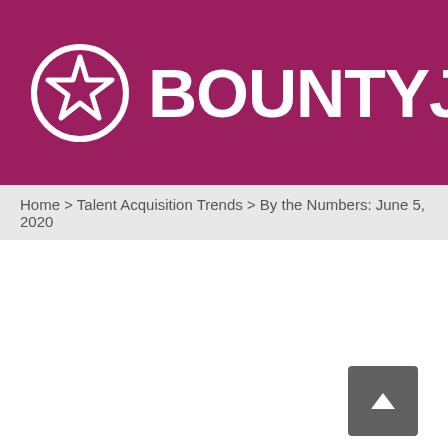[Figure (logo): BountyJobs logo — circular star icon beside bold white text 'BOUNTYJOBS' on a dark magenta/crimson background]
Home > Talent Acquisition Trends > By the Numbers: June 5, 2020